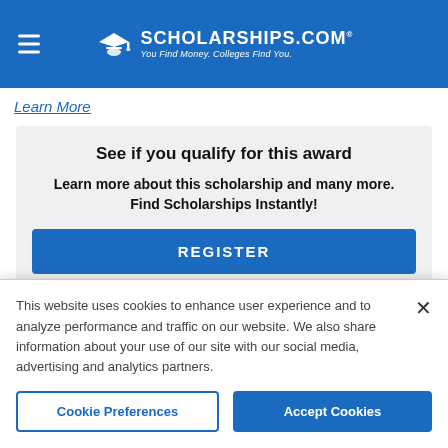SCHOLARSHIPS.COM® — You Find Money. Colleges Find You.
Learn More
See if you qualify for this award
Learn more about this scholarship and many more. Find Scholarships Instantly!
REGISTER
This website uses cookies to enhance user experience and to analyze performance and traffic on our website. We also share information about your use of our site with our social media, advertising and analytics partners.
Cookie Preferences
Accept Cookies